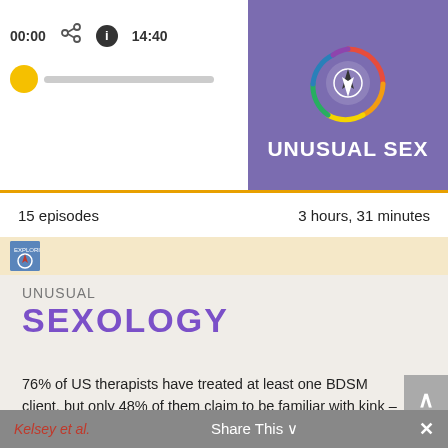[Figure (screenshot): Podcast player interface showing time 00:00 and 14:40, share and info icons, yellow progress dot on grey track, and purple podcast artwork with compass logo and text UNUSUAL SEX]
15 episodes	3 hours, 31 minutes
[Figure (screenshot): Related episodes strip with small podcast thumbnail]
UNUSUAL
SEXOLOGY
76% of US therapists have treated at least one BDSM client, but only 48% of them claim to be familiar with kink – and 30% wrongly states that kinksters are unable to have functional relationships.
Kelsey et al.	Share This	✕